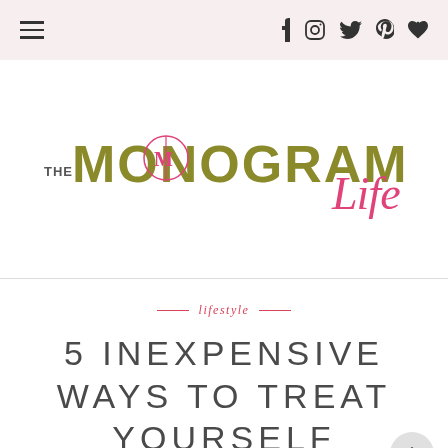Navigation bar with hamburger menu and social icons (Facebook, Instagram, Twitter, Pinterest, Heart)
[Figure (logo): The Monogrammed Life blog logo — 'THE MONOGRAMMED' in stylized block letters with a monogram O, followed by 'life' in pink cursive script]
lifestyle
5 INEXPENSIVE WAYS TO TREAT YOURSELF